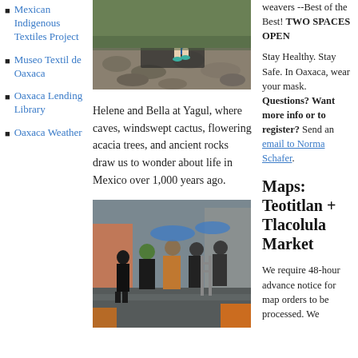Mexican Indigenous Textiles Project
Museo Textil de Oaxaca
Oaxaca Lending Library
Oaxaca Weather
[Figure (photo): Photo of person walking on ancient stone ruins at Yagul, Mexico]
Helene and Bella at Yagul, where caves, windswept cactus, flowering acacia trees, and ancient rocks draw us to wonder about life in Mexico over 1,000 years ago.
[Figure (photo): Photo of group of people at a rainy outdoor market, possibly Tlacolula Market]
weavers --Best of the Best! TWO SPACES OPEN

Stay Healthy. Stay Safe. In Oaxaca, wear your mask. Questions? Want more info or to register? Send an email to Norma Schafer.
Maps: Teotitlan + Tlacolula Market
We require 48-hour advance notice for map orders to be processed. We